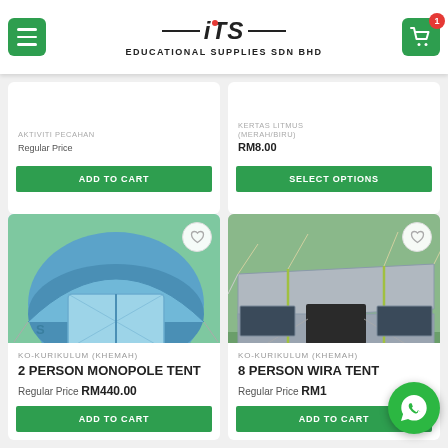ITS Educational Supplies SDN BHD
[Figure (screenshot): Partial product card top-left: AKTIVITI PECAHAN category, Regular Price, ADD TO CART button]
[Figure (screenshot): Partial product card top-right: KERTAS LITMUS (MERAH/BIRU) category, RM8.00 price, SELECT OPTIONS button]
[Figure (photo): Blue 2-person monopole dome tent on grass]
KO-KURIKULUM (KHEMAH)
2 PERSON MONOPOLE TENT
Regular Price RM440.00
[Figure (photo): Grey 8-person Wira frame tent on grass]
KO-KURIKULUM (KHEMAH)
8 PERSON WIRA TENT
Regular Price RM1...
[Figure (other): WhatsApp floating chat button (green circle with phone icon)]